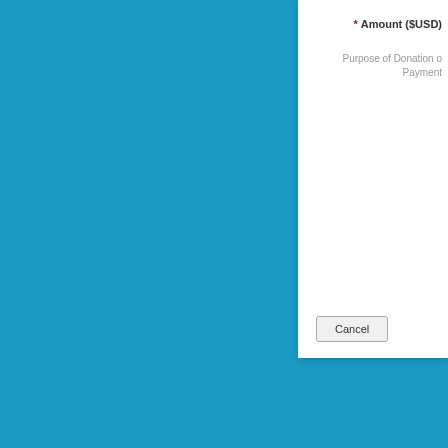* Amount ($USD)
Purpose of Donation or Payment
Cancel